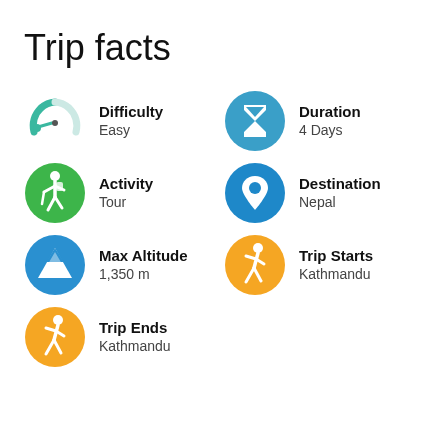Trip facts
[Figure (infographic): Six trip fact items arranged in a 2-column grid, each with a circular icon and label+value text. Difficulty: Easy; Duration: 4 Days; Activity: Tour; Destination: Nepal; Max Altitude: 1,350 m; Trip Starts: Kathmandu; Trip Ends: Kathmandu.]